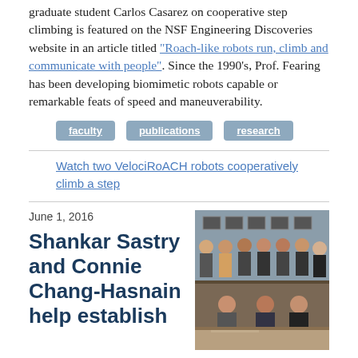graduate student Carlos Casarez on cooperative step climbing is featured on the NSF Engineering Discoveries website in an article titled “Roach-like robots run, climb and communicate with people”. Since the 1990’s, Prof. Fearing has been developing biomimetic robots capable or remarkable feats of speed and maneuverability.
faculty
publications
research
Watch two VelociRoACH robots cooperatively climb a step
June 1, 2016
Shankar Sastry and Connie Chang-Hasnain help establish
[Figure (photo): Group photo of approximately 10 people, some seated and some standing, in a formal indoor setting with wood-paneled walls and framed photos in the background.]